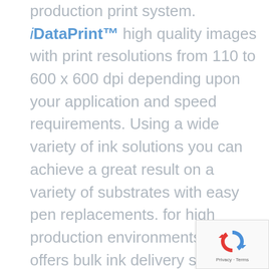production print system. iDataPrint™ high quality images with print resolutions from 110 to 600 x 600 dpi depending upon your application and speed requirements. Using a wide variety of ink solutions you can achieve a great result on a variety of substrates with easy pen replacements. for high production environments, DDS offers bulk ink delivery systems to lower the cost of consumables and price per impression. Print systems are now